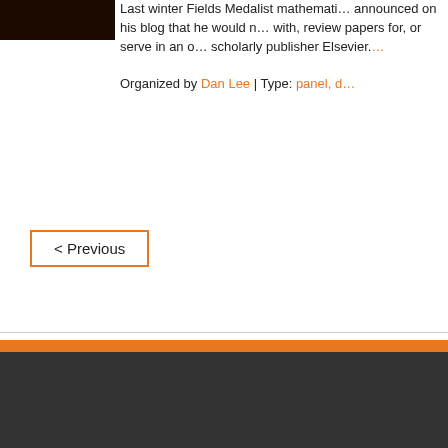[Figure (photo): Dark brown/black thumbnail image in top left corner]
Last winter Fields Medalist mathemati... announced on his blog that he would n... with, review papers for, or serve in an o... scholarly publisher Elsevier.... Organized by Dan Lee | Type: panel, d...
< Previous
All content subject to a Creative Commons Attribution 4.0 License unless... Organised by | Like Us | SPARC* | In partnership with our Advisory Committee